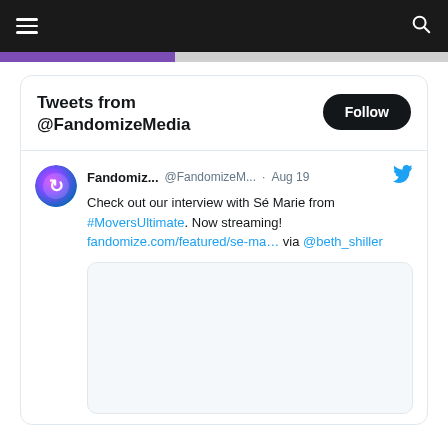☰  [hamburger menu]   🔍 [search icon]
Tweets from @FandomizeMedia
Fandomiz... @FandomizeM... · Aug 19  Check out our interview with Sé Marie from #MoversUltimate. Now streaming! fandomize.com/featured/se-ma… via @beth_shiller
[Figure (screenshot): Embedded media card preview with light gray background, no visible content]